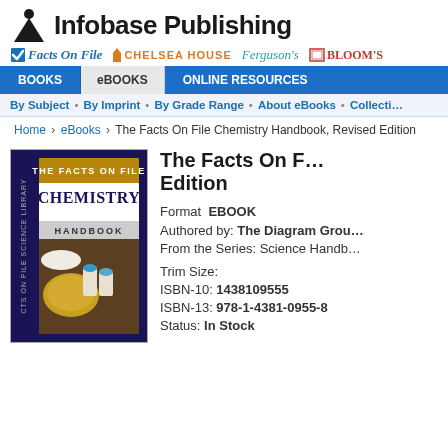Infobase Publishing
[Figure (logo): Infobase Publishing logo with triangle/person icon and brand logos: Facts On File, Chelsea House, Ferguson's, Bloom's]
BOOKS | eBOOKS | ONLINE RESOURCES
By Subject • By Imprint • By Grade Range • About eBooks • Collections
Home › eBooks › The Facts On File Chemistry Handbook, Revised Edition
[Figure (photo): Book cover of The Facts On File Chemistry Handbook showing lab equipment]
The Facts On File Chemistry Handbook, Revised Edition
Format  EBOOK
Authored by: The Diagram Group
From the Series: Science Handbooks
Trim Size:
ISBN-10: 1438109555
ISBN-13: 978-1-4381-0955-8
Status: In Stock